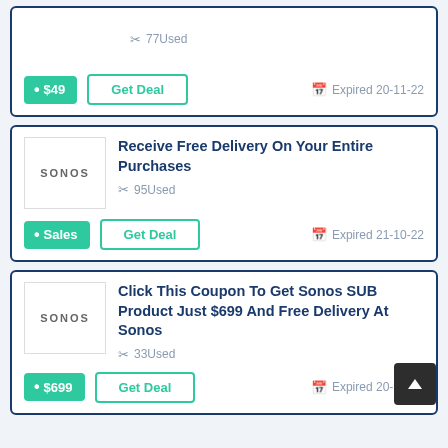[Figure (other): Partial coupon card showing 77Used and Get Deal button with $49 badge and Expired 20-11-22]
[Figure (other): Sonos coupon card: Receive Free Delivery On Your Entire Purchases, 95 Used, Sales badge, Get Deal button, Expired 21-10-22]
[Figure (other): Sonos coupon card: Click This Coupon To Get Sonos SUB Product Just $699 And Free Delivery At Sonos, 33 Used, $699 badge, Get Deal button, Expired 20-11-22]